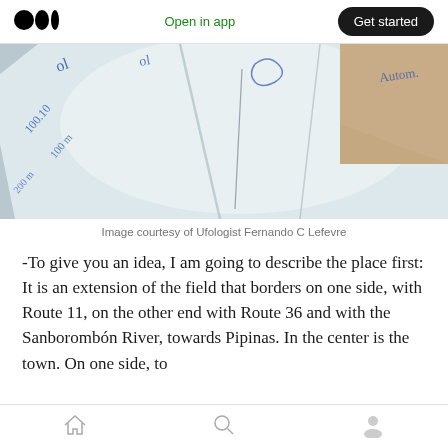Medium logo | Open in app | Get started
[Figure (photo): Blurry photo of a white fabric or paper with handwritten blue ink markings, taken at an angle. Background shows a beige/tan surface.]
Image courtesy of Ufologist Fernando C Lefevre
-To give you an idea, I am going to describe the place first:
It is an extension of the field that borders on one side, with Route 11, on the other end with Route 36 and with the Sanborombón River, towards Pipinas. In the center is the town. On one side, to
Home | Search | Profile